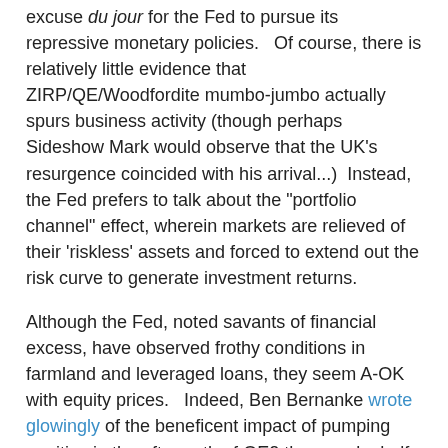excuse du jour for the Fed to pursue its repressive monetary policies.   Of course, there is relatively little evidence that ZIRP/QE/Woodfordite mumbo-jumbo actually spurs business activity (though perhaps Sideshow Mark would observe that the UK's resurgence coincided with his arrival...)  Instead, the Fed prefers to talk about the "portfolio channel" effect, wherein markets are relieved of their 'riskless' assets and forced to extend out the risk curve to generate investment returns.
Although the Fed, noted savants of financial excess, have observed frothy conditions in farmland and leveraged loans, they seem A-OK with equity prices.   Indeed, Ben Bernanke wrote glowingly of the beneficent impact of pumping equities in the aftermath of QE2 three and a half years ago.  The irony is that the Fed now wants to get inflation up...and inflation is more or less the worst possible thing for the transmission of the portfolio channel effect.
Although the analysis below is hardly groundbreaking, sometimes it is worthwhile to take a step back and check your foundations.   Simply put, the performance of US